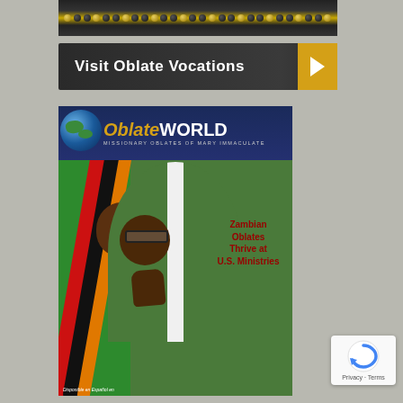[Figure (photo): Rosary beads close-up at top of page]
[Figure (illustration): Dark button with text 'Visit Oblate Vocations' and yellow arrow on right]
[Figure (photo): OblateWORLD magazine cover showing a Zambian Oblate priest in green vestments praying with hands together, a Mary statue behind him, Zambian flag ribbons on left side. Header reads 'OblateWORLD Missionary Oblates of Mary Immaculate'. Headline: 'Zambian Oblates Thrive at U.S. Ministries'. Bottom text in Spanish.]
[Figure (logo): reCAPTCHA badge with Google reCAPTCHA logo, labeled 'Privacy - Terms']